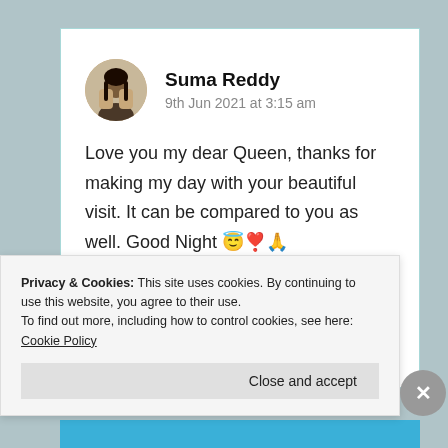Suma Reddy
9th Jun 2021 at 3:15 am
Love you my dear Queen, thanks for making my day with your beautiful visit. It can be compared to you as well. Good Night 😇❣️🙏
Liked by 3 people
Privacy & Cookies: This site uses cookies. By continuing to use this website, you agree to their use.
To find out more, including how to control cookies, see here: Cookie Policy
Close and accept